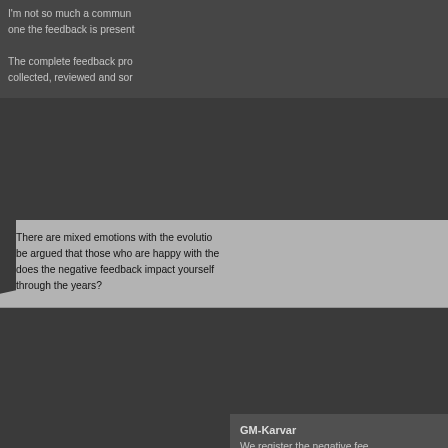I'm not so much a commun... one the feedback is present...
The complete feedback pro... collected, reviewed and sor...
There are mixed emotions with the evolutio... be argued that those who are happy with the... does the negative feedback impact yourself ... through the years?
GM-Karvar
We register the negative fee... for the players. But we also... positive one. People who a... of course we don't just disc... future development process...

And of course we use othe... disposition of the communi...

In my opinion, there was qu... accepted as others and ther...
Players always say TibiaME now is all abou... added with the EP/Gold Boosts and Life ins... November, when CipSoft announced the ne... skill points and instant reach of level 50. Ho... much do you think that this system benefit...